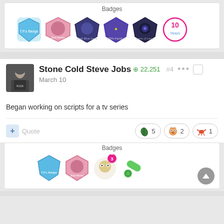Badges
[Figure (illustration): Row of 6 badge icons including shield badges and a 10-year badge]
[Figure (photo): Avatar photo of Stone Cold Steve Jobs user]
Stone Cold Steve Jobs +22,251 #4 March 10
Began working on scripts for a tv series
[Figure (illustration): Reaction buttons: leaf emoji x5, chipmunk emoji x2, crab emoji x1]
Badges
[Figure (illustration): Row of 4 badge icons with a notification count of 3]